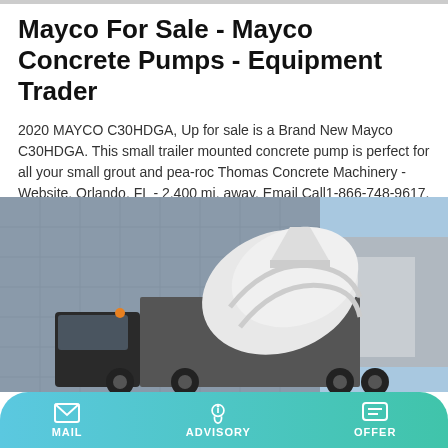Mayco For Sale - Mayco Concrete Pumps - Equipment Trader
2020 MAYCO C30HDGA, Up for sale is a Brand New Mayco C30HDGA. This small trailer mounted concrete pump is perfect for all your small grout and pea-roc Thomas Concrete Machinery - Website. Orlando, FL - 2,400 mi. away. Email Call1-866-748-9617.
Learn More
[Figure (photo): Concrete mixer truck parked in front of a building, showing the white rotating drum/mixer attachment, with a warehouse structure visible in the background.]
MAIL   ADVISORY   OFFER